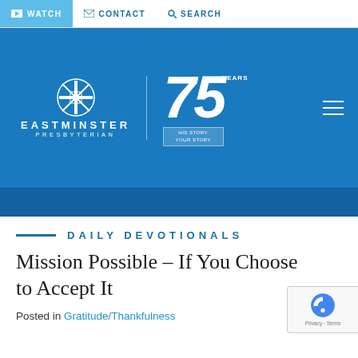WATCH  CONTACT  SEARCH
[Figure (logo): Eastminster Presbyterian Church logo with 75 Years anniversary badge on blue background]
DAILY DEVOTIONALS
Mission Possible – If You Choose to Accept It
Posted in Gratitude/Thankfulness